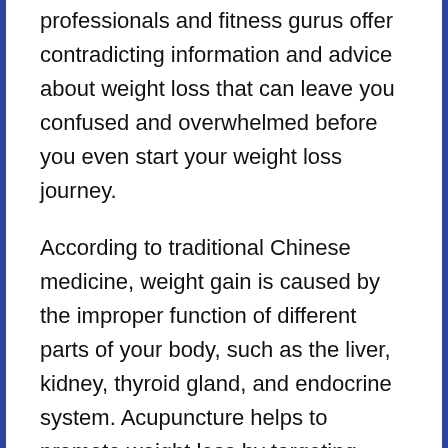professionals and fitness gurus offer contradicting information and advice about weight loss that can leave you confused and overwhelmed before you even start your weight loss journey.
According to traditional Chinese medicine, weight gain is caused by the improper function of different parts of your body, such as the liver, kidney, thyroid gland, and endocrine system. Acupuncture helps to promote weight loss by targeting these parts of the body to increase metabolism, reduce appetite, and lower stress. Additionally, the ear is another part of the body that is often